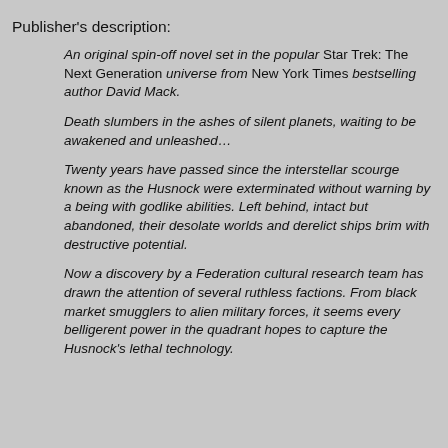Publisher's description:
An original spin-off novel set in the popular Star Trek: The Next Generation universe from New York Times bestselling author David Mack.
Death slumbers in the ashes of silent planets, waiting to be awakened and unleashed…
Twenty years have passed since the interstellar scourge known as the Husnock were exterminated without warning by a being with godlike abilities. Left behind, intact but abandoned, their desolate worlds and derelict ships brim with destructive potential.
Now a discovery by a Federation cultural research team has drawn the attention of several ruthless factions. From black market smugglers to alien military forces, it seems every belligerent power in the quadrant hopes to capture the Husnock's lethal technology.